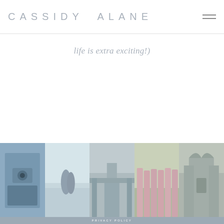CASSIDY ALANE
life is extra exciting!)
[Figure (photo): Five-panel horizontal photo strip showing: (1) child holding a camera, (2) couple embracing on a beach, (3) grand estate or manor home with tree-lined path, (4) bridesmaids in pink holding bouquets, (5) exterior of a grand chateau or castle building.]
PRIVACY POLICY
©2021 CASSIDY ALANE PHOTOGRAPHY
DESIGN BY TONIC
BRANDING & SITE CUSTOMIZATION BY MEGGAN STEFAN